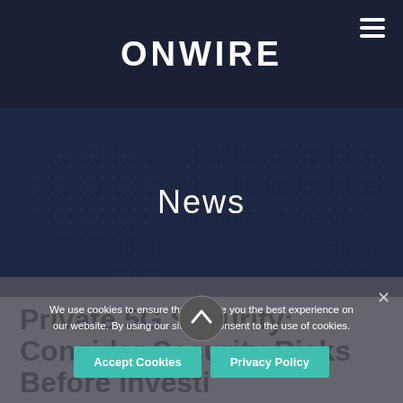ONWIRE
News
Private 5G Security: Consider Security Risks Before Investing
We use cookies to ensure that we give you the best experience on our website. By using our site, you consent to the use of cookies.